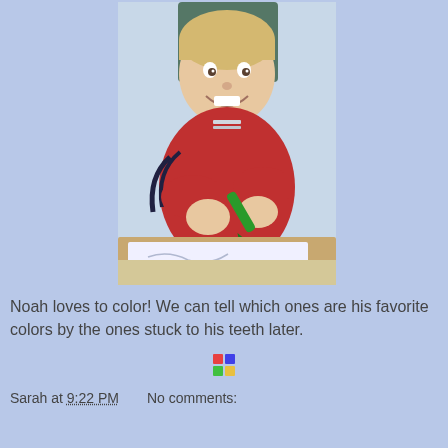[Figure (photo): A smiling toddler with blonde hair wearing a red outfit, holding a green crayon, with paper on the table in front of them.]
Noah loves to color! We can tell which ones are his favorite colors by the ones stuck to his teeth later.
[Figure (logo): Small colorful icon/logo (appears to be a Picasa or photo service logo)]
Sarah at 9:22 PM    No comments:
Share